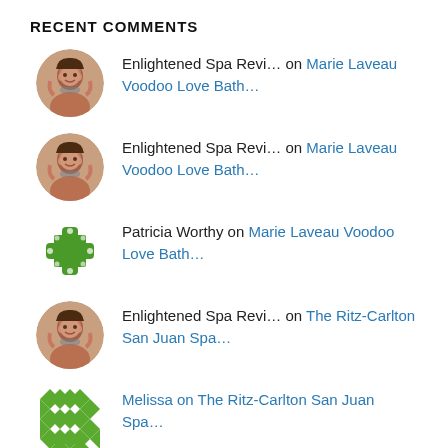RECENT COMMENTS
Enlightened Spa Revi… on Marie Laveau Voodoo Love Bath…
Enlightened Spa Revi… on Marie Laveau Voodoo Love Bath…
Patricia Worthy on Marie Laveau Voodoo Love Bath…
Enlightened Spa Revi… on The Ritz-Carlton San Juan Spa…
Melissa on The Ritz-Carlton San Juan Spa…